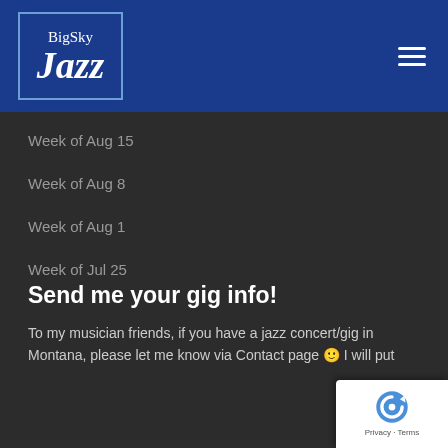[Figure (logo): Big Sky Jazz logo — white text on dark blue background with border]
Week of Aug 15
Week of Aug 8
Week of Aug 1
Week of Jul 25
Send me your gig info!
To my musician friends, if you have a jazz concert/gig in Montana, please let me know via Contact page 🙂 I will put